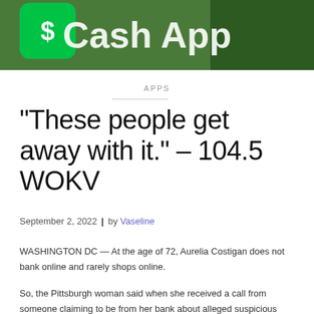[Figure (photo): Cash App logo on a green background with the text 'Cash App' visible]
APPS
“These people get away with it.” – 104.5 WOKV
September 2, 2022  |  by Vaseline
WASHINGTON DC — At the age of 72, Aurelia Costigan does not bank online and rarely shops online.
So, the Pittsburgh woman said when she received a call from someone claiming to be from her bank about alleged suspicious charges on her